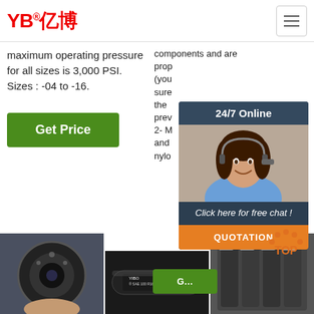[Figure (logo): YB Yibo brand logo in red with Chinese characters]
maximum operating pressure for all sizes is 3,000 PSI. Sizes : -04 to -16.
Get Price
components and are prop (you sure the prev 2- M and nylo
[Figure (photo): Customer service agent with headset, 24/7 Online chat widget overlay with QUOTATION button]
[Figure (photo): Hydraulic hose end cross-section close-up]
[Figure (photo): YIBO SAE 100 R16 hydraulic hose product photo]
[Figure (photo): Hydraulic hose bundle with TOP navigation button]